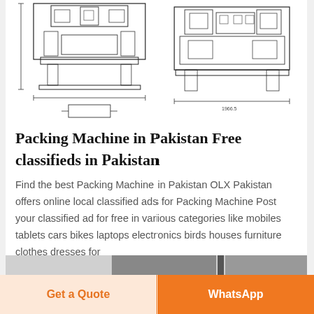[Figure (engineering-diagram): Technical engineering schematic drawings of packing machines shown from front/side views with dimension lines, two machine diagrams side by side]
Packing Machine in Pakistan Free classifieds in Pakistan
Find the best Packing Machine in Pakistan OLX Pakistan offers online local classified ads for Packing Machine Post your classified ad for free in various categories like mobiles tablets cars bikes laptops electronics birds houses furniture clothes dresses for
[Figure (photo): Partial image of packing machine visible at bottom of page]
Get a Quote   WhatsApp